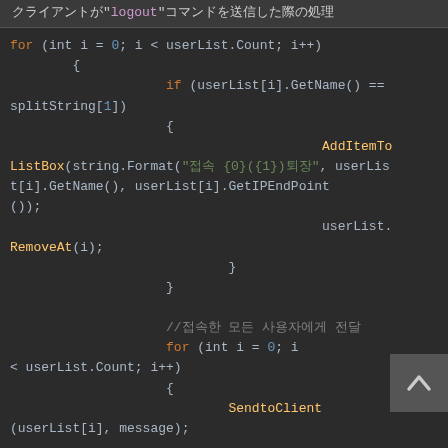クライアントが"logout"コマンドを送信した際の処理
[Figure (screenshot): Code block showing C# server-side code handling logout and user list management with for loops, AddItemToListBox, RemoveAt, and SendtoClient methods.]